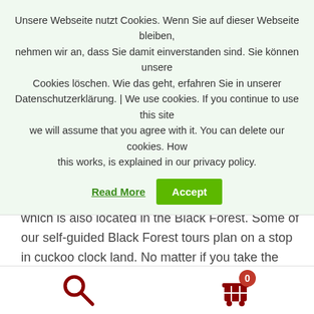Unsere Webseite nutzt Cookies. Wenn Sie auf dieser Webseite bleiben, nehmen wir an, dass Sie damit einverstanden sind. Sie können unsere Cookies löschen. Wie das geht, erfahren Sie in unserer Datenschutzerklärung. | We use cookies. If you continue to use this site we will assume that you agree with it. You can delete our cookies. How this works, is explained in our privacy policy. Read More Accept
Black Forest. Or stop by at world's largest cuckoo clock which is also located in the Black Forest. Some of our self-guided Black Forest tours plan on a stop in cuckoo clock land. No matter if you take the train or car you will have a chance to stop in some of the towns and purchase your perfect clock. See you soon in the Black Forest!
About Black Forest – To Go! We are located in the Black
[Figure (other): Bottom navigation bar with a dark red search icon (magnifying glass) on the left and a dark red shopping cart icon with a badge showing '0' on the right]